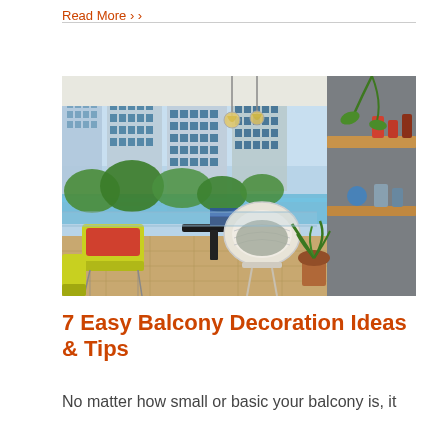Read More ›
[Figure (photo): A decorated balcony with colourful wicker chairs, a dark table, potted plants, pendant lights, a wooden shelf on the right wall, and a view of apartment buildings and a pool outside.]
7 Easy Balcony Decoration Ideas & Tips
No matter how small or basic your balcony is, it